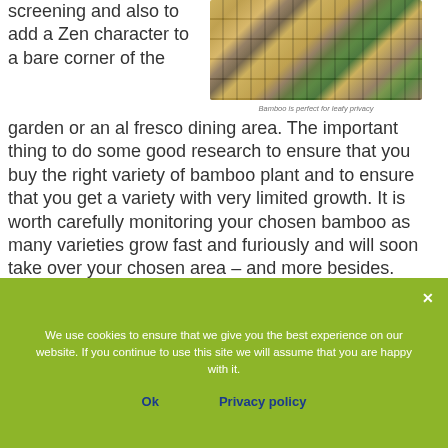screening and also to add a Zen character to a bare corner of the garden or an al fresco dining area. The important thing to do some good research to ensure that you buy the right variety of bamboo plant and to ensure that you get a variety with very limited growth. It is worth carefully monitoring your chosen bamboo as many varieties grow fast and furiously and will soon take over your chosen area – and more besides.
[Figure (photo): Close-up photo of bamboo stalks with green leaves]
Bamboo is perfect for leafy privacy
We use cookies to ensure that we give you the best experience on our website. If you continue to use this site we will assume that you are happy with it.
Ok   Privacy policy